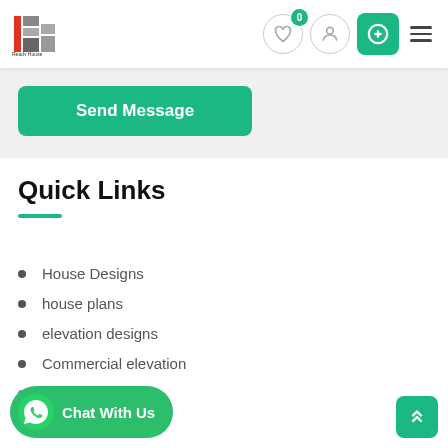Ready House Design — navigation header with logo, heart icon, user icon, add button, hamburger menu
Send Message
Quick Links
House Designs
house plans
elevation designs
Commercial elevation
Privacy Policy
Chat With Us